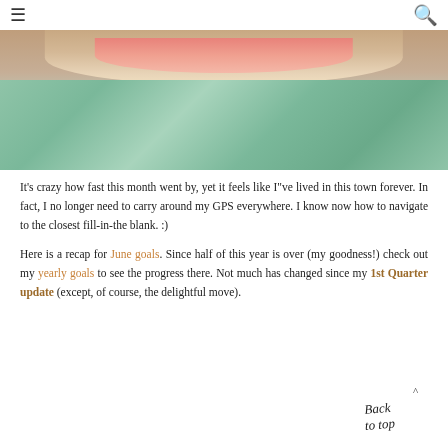☰  🔍
[Figure (photo): Person in a green patterned shirt holding a slice of watermelon]
It's crazy how fast this month went by, yet it feels like I"ve lived in this town forever. In fact, I no longer need to carry around my GPS everywhere. I know now how to navigate to the closest fill-in-the blank. :)
Here is a recap for June goals. Since half of this year is over (my goodness!) check out my yearly goals to see the progress there. Not much has changed since my 1st Quarter update (except, of course, the delightful move).
[Figure (illustration): Back to top handwritten script button with upward arrow]